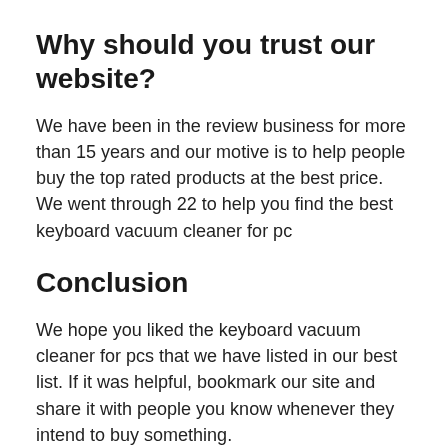Why should you trust our website?
We have been in the review business for more than 15 years and our motive is to help people buy the top rated products at the best price. We went through 22 to help you find the best keyboard vacuum cleaner for pc
Conclusion
We hope you liked the keyboard vacuum cleaner for pcs that we have listed in our best list. If it was helpful, bookmark our site and share it with people you know whenever they intend to buy something.
To conclude this guide,